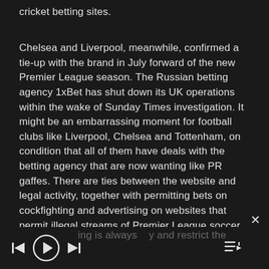cricket betting sites.
Chelsea and Liverpool, meanwhile, confirmed a tie-up with the brand in July forward of the new Premier League season. The Russian betting agency 1xBet has shut down its UK operations within the wake of Sunday Times investigation. It might be an embarrassing moment for football clubs like Liverpool, Chelsea and Tottenham, on condition that all of them have deals with the betting agency that are now wanting like PR gaffes. There are ties between the website and legal activity, together with permitting bets on cockfighting and advertising on websites that permit illegal streams of Premier League soccer matches. Our best tip for something to do with cricket betting is always to and restrict the